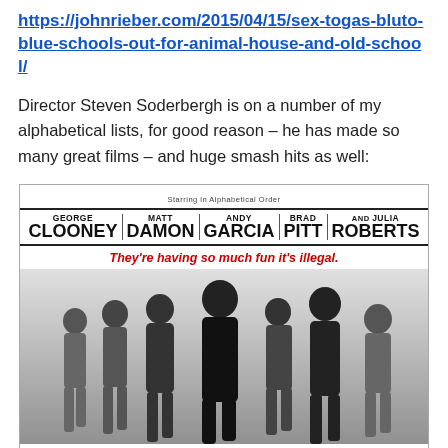https://johnrieber.com/2015/04/15/sex-togas-bluto-blue-schools-out-for-animal-house-and-old-school/
Director Steven Soderbergh is on a number of my alphabetical lists, for good reason – he has made so many great films – and huge smash hits as well:
[Figure (photo): Movie poster for Ocean's Eleven (or similar heist film) with cast listed as George Clooney, Matt Damon, Andy Garcia, Brad Pitt, and Julia Roberts in alphabetical order. Tagline reads 'They're having so much fun it's illegal.' Below the title credits is a black-and-white photo of the cast walking together.]